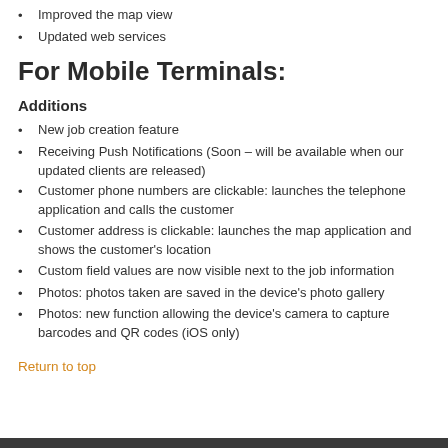Improved the map view
Updated web services
For Mobile Terminals:
Additions
New job creation feature
Receiving Push Notifications (Soon – will be available when our updated clients are released)
Customer phone numbers are clickable: launches the telephone application and calls the customer
Customer address is clickable: launches the map application and shows the customer's location
Custom field values are now visible next to the job information
Photos: photos taken are saved in the device's photo gallery
Photos: new function allowing the device's camera to capture barcodes and QR codes (iOS only)
Return to top